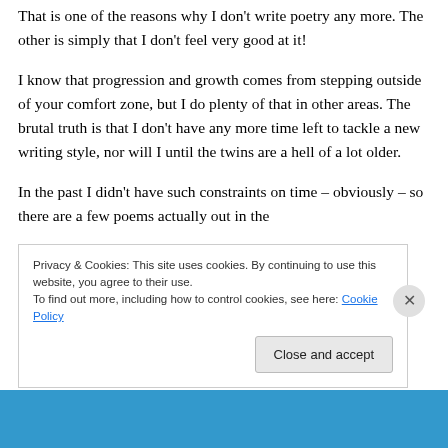That is one of the reasons why I don't write poetry any more. The other is simply that I don't feel very good at it!
I know that progression and growth comes from stepping outside of your comfort zone, but I do plenty of that in other areas. The brutal truth is that I don't have any more time left to tackle a new writing style, nor will I until the twins are a hell of a lot older.
In the past I didn't have such constraints on time – obviously – so there are a few poems actually out in the
Privacy & Cookies: This site uses cookies. By continuing to use this website, you agree to their use.
To find out more, including how to control cookies, see here: Cookie Policy